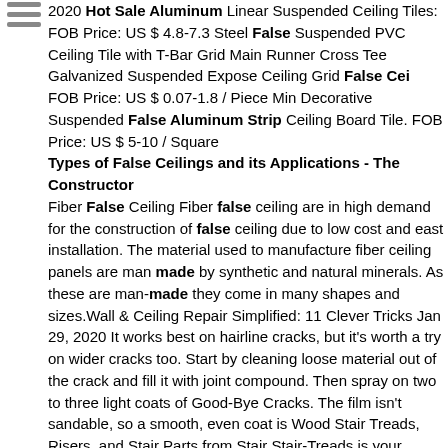[Figure (other): Hamburger menu icon with three horizontal lines]
2020 Hot Sale Aluminum Linear Suspended Ceiling Tiles: FOB Price: US $ 4.8-7.3 Steel False Suspended PVC Ceiling Tile with T-Bar Grid Main Runner Cross Tee Galvanized Suspended Expose Ceiling Grid False Cei FOB Price: US $ 0.07-1.8 / Piece Min Decorative Suspended False Aluminum Strip Ceiling Board Tile. FOB Price: US $ 5-10 / Square
Types of False Ceilings and its Applications - The Constructor
Fiber False Ceiling Fiber false ceiling are in high demand for the construction of false ceiling due to low cost and east installation. The material used to manufacture fiber ceiling panels are man made by synthetic and natural minerals. As these are man-made they come in many shapes and sizes.Wall & Ceiling Repair Simplified: 11 Clever Tricks Jan 29, 2020 It works best on hairline cracks, but it's worth a try on wider cracks too. Start by cleaning loose material out of the crack and fill it with joint compound. Then spray on two to three light coats of Good-Bye Cracks. The film isn't sandable, so a smooth, even coat is Wood Stair Treads, Risers, and Stair Parts from Stair Stair-Treads is your source for solid wood stair treads, risers, and stair parts. Stair parts are available unfinished and prefinished with a durable UV coating. Over 9100 different stair parts in dozens of wood species, sizes, and stain colors available online.
aluminum strip false ceiling, aluminum strip false ceiling